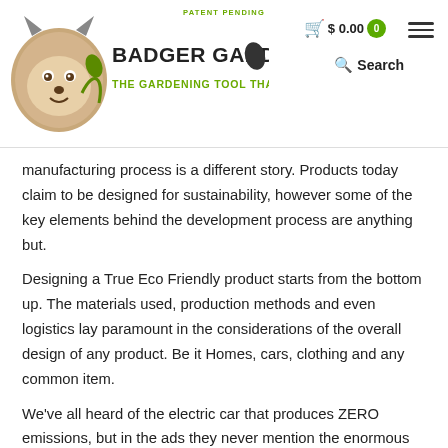PATENT PENDING | Badger Garden Gloves — The Gardening Tool That Fits Like A Glove ™ | $0.00 | Search
manufacturing process is a different story. Products today claim to be designed for sustainability, however some of the key elements behind the development process are anything but.
Designing a True Eco Friendly product starts from the bottom up. The materials used, production methods and even logistics lay paramount in the considerations of the overall design of any product. Be it Homes, cars, clothing and any common item.
We've all heard of the electric car that produces ZERO emissions, but in the ads they never mention the enormous carbon footprint generated by the coal and fossil fuels used in the manufacturing process of the batteries. In the production of the batteries for an average electric car, the